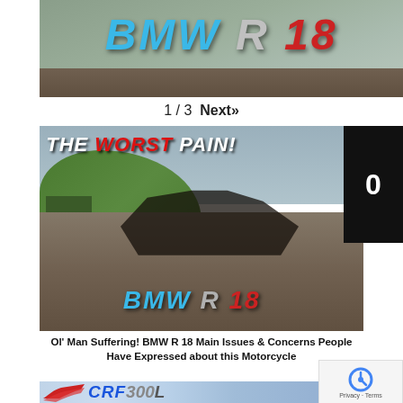[Figure (screenshot): Top portion of a YouTube thumbnail showing 'BMW R 18' text in blue, grey, and red italic bold letters against a stone/outdoor background]
1 / 3  Next»
[Figure (photo): YouTube video thumbnail showing an older man lying on stone ground in apparent pain next to a BMW R 18 motorcycle. Text overlay reads 'THE WORST PAIN!' in white and red. BMW R 18 logo in blue and red at bottom. A black box with '0' overlays the right side.]
Ol' Man Suffering! BMW R 18 Main Issues & Concerns People Have Expressed about this Motorcycle
[Figure (screenshot): Bottom portion showing Honda CRF 300 thumbnail with Honda wing logo in red and CRF300 text in blue]